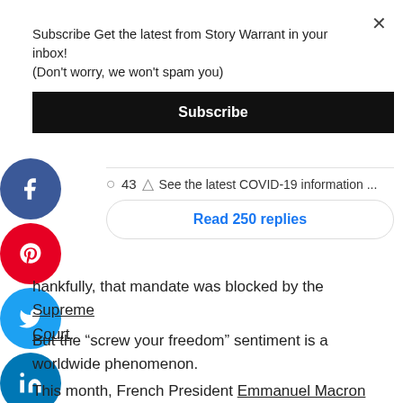Subscribe Get the latest from Story Warrant in your inbox! (Don't worry, we won't spam you)
Subscribe
43  See the latest COVID-19 information ...
Read 250 replies
hankfully, that mandate was blocked by the Supreme Court.
But the “screw your freedom” sentiment is a worldwide phenomenon.
This month, French President Emmanuel Macron told the Le Parisien newspaper that his strategy to